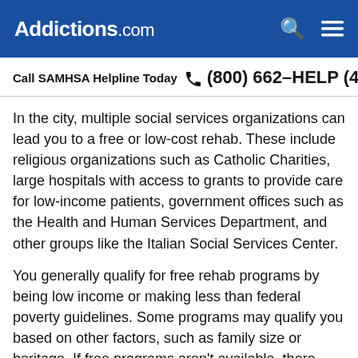Addictions.com
Call SAMHSA Helpline Today  (800) 662-HELP (4357)
In the city, multiple social services organizations can lead you to a free or low-cost rehab. These include religious organizations such as Catholic Charities, large hospitals with access to grants to provide care for low-income patients, government offices such as the Health and Human Services Department, and other groups like the Italian Social Services Center.
You generally qualify for free rehab programs by being low income or making less than federal poverty guidelines. Some programs may qualify you based on other factors, such as family size or heritage. If free programs aren't available, there may be sliding-scale fees based on your income, with the help...